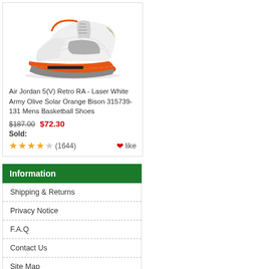[Figure (photo): Air Jordan 5(V) Retro RA sneaker - white with orange sole and laser engraving pattern]
Air Jordan 5(V) Retro RA - Laser White Army Olive Solar Orange Bison 315739-131 Mens Basketball Shoes
$187.00  $72.30
Sold:
★★★★☆ (1644)  ❤like
Information
Shipping & Returns
Privacy Notice
F.A.Q
Contact Us
Site Map